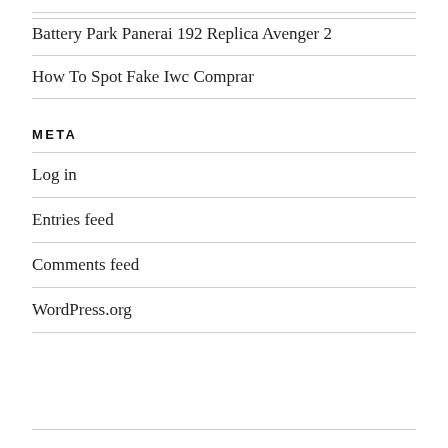Battery Park Panerai 192 Replica Avenger 2
How To Spot Fake Iwc Comprar
META
Log in
Entries feed
Comments feed
WordPress.org